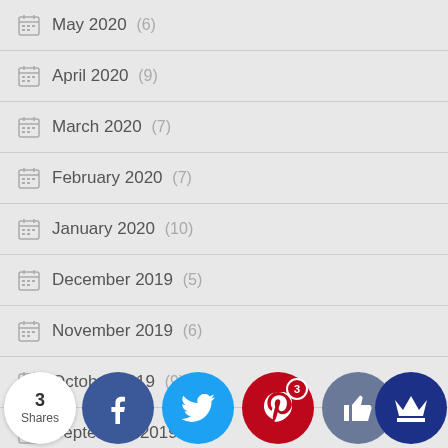May 2020 (6)
April 2020 (9)
March 2020 (7)
February 2020 (7)
January 2020 (10)
December 2019 (5)
November 2019 (6)
October 2019 (9)
September 2019 (7)
August 2... (2)
[Figure (infographic): Social share bar with Facebook, Twitter, Pinterest (3), Like, and Crown buttons. Shows 3 Shares total.]